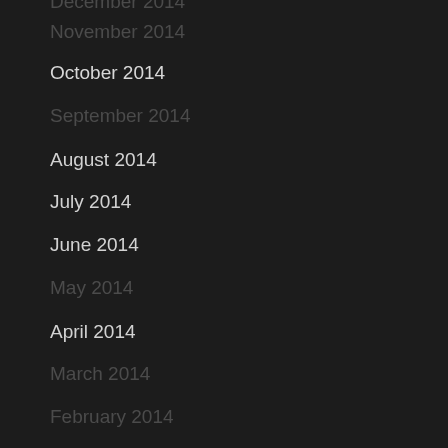December 2014
November 2014
October 2014
September 2014
August 2014
July 2014
June 2014
May 2014
April 2014
March 2014
February 2014
January 2014
December 2013
November 2013
October 2013
September 2013
August 2013
July 2013
June 2013
May 2013
April 2013
March 2013
February 2013
January 2013
December 2012
November 2012